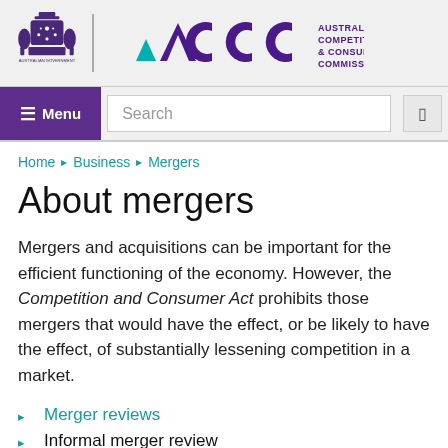[Figure (logo): Australian Government crest and ACCC (Australian Competition & Consumer Commission) logo in the site header]
Menu  Search
Home  Business  Mergers
About mergers
Mergers and acquisitions can be important for the efficient functioning of the economy. However, the Competition and Consumer Act prohibits those mergers that would have the effect, or be likely to have the effect, of substantially lessening competition in a market.
Merger reviews
Informal merger review